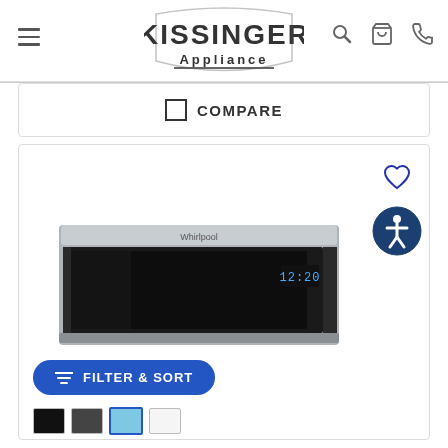[Figure (logo): Kissinger Appliance logo in stylized block lettering]
COMPARE
[Figure (photo): Whirlpool low-profile over-the-range microwave in stainless steel, front view showing black door with digital display]
FILTER & SORT